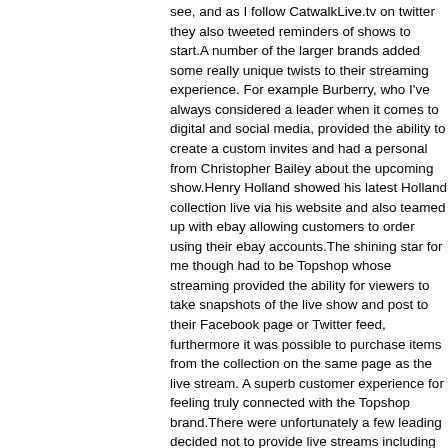see, and as I follow CatwalkLive.tv on twitter they also tweeted reminders of shows to start.A number of the larger brands added some really unique twists to their streaming experience. For example Burberry, who I've always considered a leader when it comes to digital and social media, provided the ability to create a custom invites and had a personal from Christopher Bailey about the upcoming show.Henry Holland showed his latest Holland collection live via his website and also teamed up with ebay allowing customers to order using their ebay accounts.The shining star for me though had to be Topshop whose streaming provided the ability for viewers to take snapshots of the live show and post to their Facebook page or Twitter feed, furthermore it was possible to purchase items from the collection on the same page as the live stream. A superb customer experience for feeling truly connected with the Topshop brand.There were unfortunately a few leading decided not to provide live streams including one of my favorite brands, Matthew W that next year they will invite more of us into their shows by providing live streams. the live experience of actually being at London Fashion Week and will be heading season for sure. That said, for those not fortunate enough to attend the shows in person, streaming media alternative is certainly a good alternative.I'm really interested to hear your experiences of watching any streams was and whether there was a brand that you felt gave an excellent experience or perhaps even one that didn't? Please feel free to share below.Zoe. x Follow Zoe Yates on Twitter:Featured in titles such as Marie Claire and top 10 to follow for London Fashion Week by Fashion Telegraph; Zoe shares her passion via Twitter, Facebook and . When she's not writing, Zoe can often be found running on her home town, researching the latest trends or on the hunt for chocolate (her other love). She assists a number of emerging fashion designers to help them create and maintain online activities through websites and other online media.Her marriage is wonderful, shes blissful and from tomorrow shes hosting the nightly Strictly spin-off show It Takes Twolt's w brain reboot, because otherwise you might think you'd gone to bed in the Noughties and woken in the Seventies – the 1870s, even. A cabinet full of Old Etonians; a Royal Wedding nobody seemed to care about; a TV series about the noble bond between Edwardian servants and their masters; Barbours everywhere, aristo models, elbow patches, cords. Margaret Thatchers icon. Kate Middleton as role model. Samantha Cameron wearing Christopher Ka